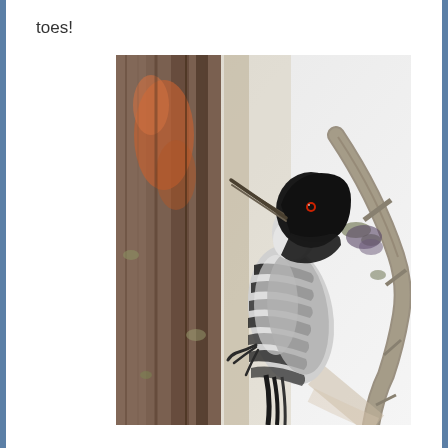toes!
[Figure (photo): A black-and-white woodpecker clinging to the bark of a tree trunk, facing upward. A mossy branch is visible to the right. The background is a pale overcast sky.]